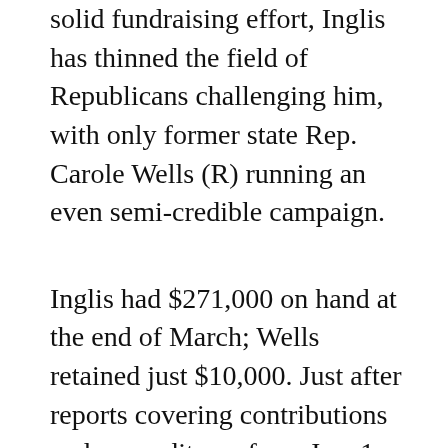solid fundraising effort, Inglis has thinned the field of Republicans challenging him, with only former state Rep. Carole Wells (R) running an even semi-credible campaign.
Inglis had $271,000 on hand at the end of March; Wells retained just $10,000. Just after reports covering contributions and expenditures from Jan. 1 to March 31 were due at the Federal Election Commission, former state Public Service Commissioner Phil Bradley (R) dropped out of the race, citing an inability to raise the necessary funds.
Inglis left the seat after three terms to challenge